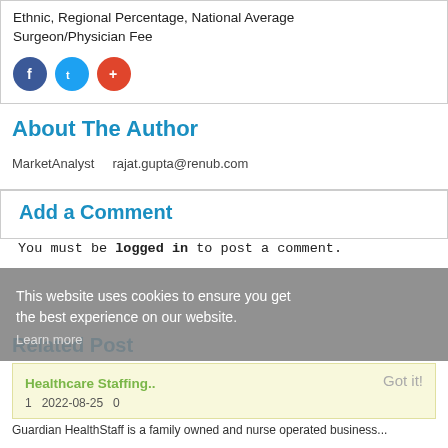Ethnic, Regional Percentage, National Average Surgeon/Physician Fee
[Figure (other): Social media sharing icons: Facebook (blue circle), Twitter (blue circle), Google Plus (red/orange circle)]
About The Author
MarketAnalyst   rajat.gupta@renub.com
Add a Comment
You must be logged in to post a comment.
This website uses cookies to ensure you get the best experience on our website.
Learn more
Related Post
Healthcare Staffing..
Got it!
1   2022-08-25   0
Guardian HealthStaff is a family owned and nurse operated business...